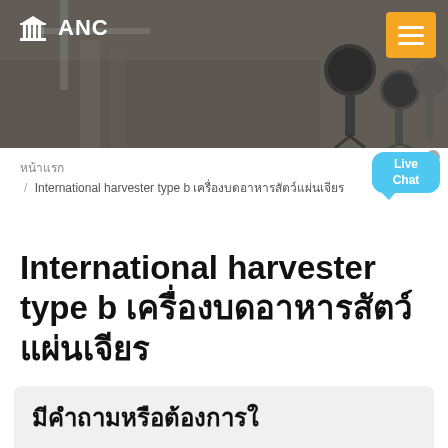ANC
หน้าแรก / International harvester type b เครื่องบดอาหารสัตว์แผ่นเจียร
International harvester type b เครื่องบดอาหารสัตว์แผ่นเจียร
มีคำถามหรือต้องการใ